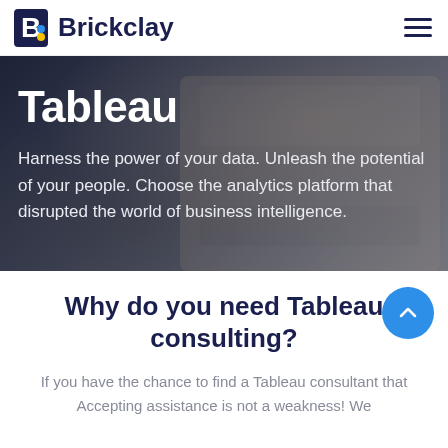Brickclay
Tableau
Harness the power of your data. Unleash the potential of your people. Choose the analytics platform that disrupted the world of business intelligence.
Why do you need Tableau consulting?
If you have the chance to find a Tableau consultant that Accepting assistance is not a weakness! We